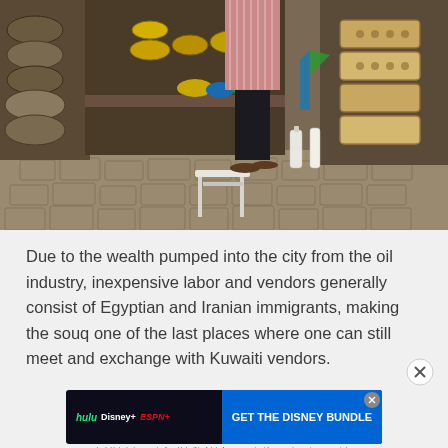[Figure (photo): A market stall (souq) filled with brass and metalware goods — pots, decorative containers, trays, and cookware displayed densely. A person stands in the background wearing a striped shirt. A white stool sits in the foreground on a cobblestone floor.]
Due to the wealth pumped into the city from the oil industry, inexpensive labor and vendors generally consist of Egyptian and Iranian immigrants, making the souq one of the last places where one can still meet and exchange with Kuwaiti vendors.